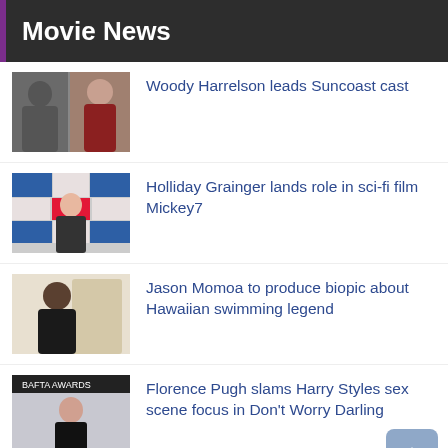Movie News
Woody Harrelson leads Suncoast cast
Holliday Grainger lands role in sci-fi film Mickey7
Jason Momoa to produce biopic about Hawaiian swimming legend
Florence Pugh slams Harry Styles sex scene focus in Don't Worry Darling
Movie Deals